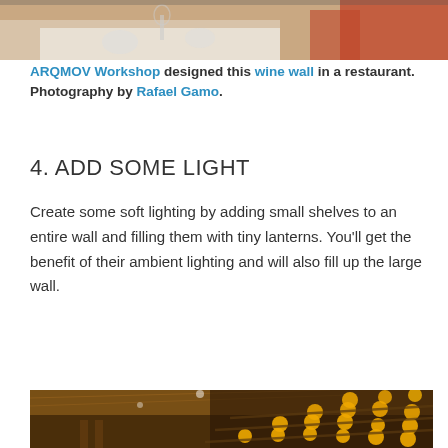[Figure (photo): Top portion of a restaurant interior photo showing a table set with white tablecloth and orange chairs]
ARQMOV Workshop designed this wine wall in a restaurant. Photography by Rafael Gamo.
4. ADD SOME LIGHT
Create some soft lighting by adding small shelves to an entire wall and filling them with tiny lanterns. You'll get the benefit of their ambient lighting and will also fill up the large wall.
[Figure (photo): Interior room with dark wall shelving holding many small glowing jar lanterns arranged diagonally, with warm wooden ceiling]